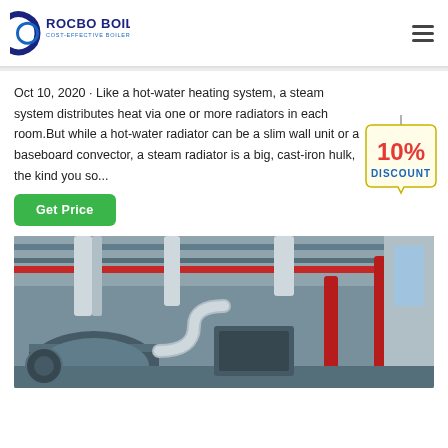ROCBO BOILER - COST-EFFECTIVE BOILER SUPPLIER
Oct 10, 2020 · Like a hot-water heating system, a steam system distributes heat via one or more radiators in each room.But while a hot-water radiator can be a slim wall unit or a baseboard convector, a steam radiator is a big, cast-iron hulk, the kind you so...
[Figure (illustration): 10% DISCOUNT badge/sticker overlay]
[Figure (photo): Industrial boiler room interior showing large cylindrical boiler equipment with silver insulated pipes and red pipe overhead in a factory setting]
Get Price